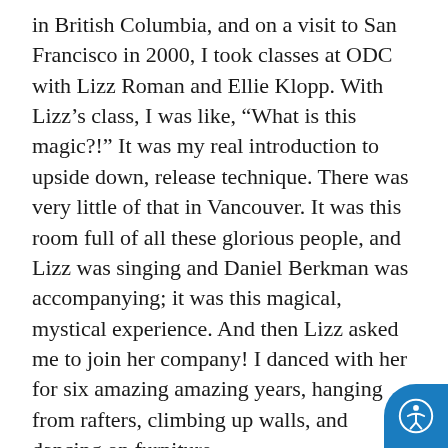in British Columbia, and on a visit to San Francisco in 2000, I took classes at ODC with Lizz Roman and Ellie Klopp. With Lizz’s class, I was like, “What is this magic?!” It was my real introduction to upside down, release technique. There was very little of that in Vancouver. It was this room full of all these glorious people, and Lizz was singing and Daniel Berkman was accompanying; it was this magical, mystical experience. And then Lizz asked me to join her company! I danced with her for six amazing amazing years, hanging from rafters, climbing up walls, and dancing on furniture.
SB: So, if I have my math right, you’re dating your 20th anniversary from 2001, right? What happened then?
[Figure (other): Accessibility icon button (circular person figure) on blue background in bottom-right corner]